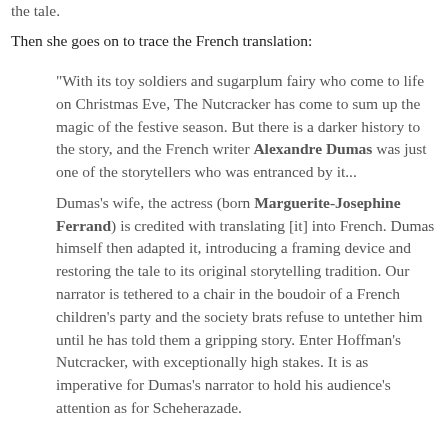the tale.
Then she goes on to trace the French translation:
"With its toy soldiers and sugarplum fairy who come to life on Christmas Eve, The Nutcracker has come to sum up the magic of the festive season. But there is a darker history to the story, and the French writer Alexandre Dumas was just one of the storytellers who was entranced by it...
Dumas's wife, the actress (born Marguerite-Josephine Ferrand) is credited with translating [it] into French. Dumas himself then adapted it, introducing a framing device and restoring the tale to its original storytelling tradition. Our narrator is tethered to a chair in the boudoir of a French children's party and the society brats refuse to untether him until he has told them a gripping story. Enter Hoffman's Nutcracker, with exceptionally high stakes. It is as imperative for Dumas's narrator to hold his audience's attention as for Scheherazade.